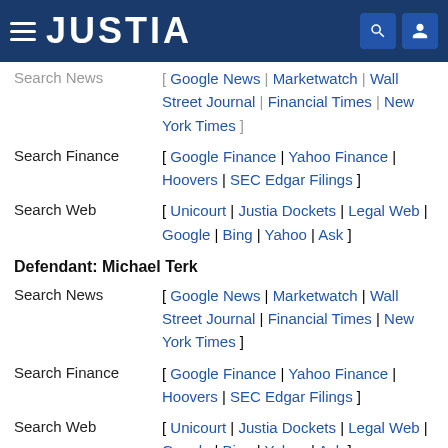JUSTIA
Search News [ Google News | Marketwatch | Wall Street Journal | Financial Times | New York Times ]
Search Finance [ Google Finance | Yahoo Finance | Hoovers | SEC Edgar Filings ]
Search Web [ Unicourt | Justia Dockets | Legal Web | Google | Bing | Yahoo | Ask ]
Defendant: Michael Terk
Search News [ Google News | Marketwatch | Wall Street Journal | Financial Times | New York Times ]
Search Finance [ Google Finance | Yahoo Finance | Hoovers | SEC Edgar Filings ]
Search Web [ Unicourt | Justia Dockets | Legal Web | Google | Bing | Yahoo | Ask ]